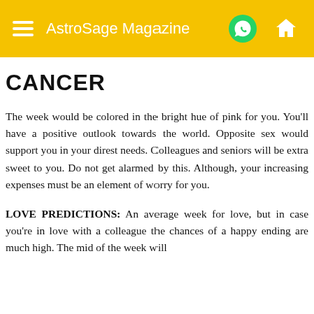AstroSage Magazine
CANCER
The week would be colored in the bright hue of pink for you. You'll have a positive outlook towards the world. Opposite sex would support you in your direst needs. Colleagues and seniors will be extra sweet to you. Do not get alarmed by this. Although, your increasing expenses must be an element of worry for you.
LOVE PREDICTIONS: An average week for love, but in case you're in love with a colleague the chances of a happy ending are much high. The mid of the week will